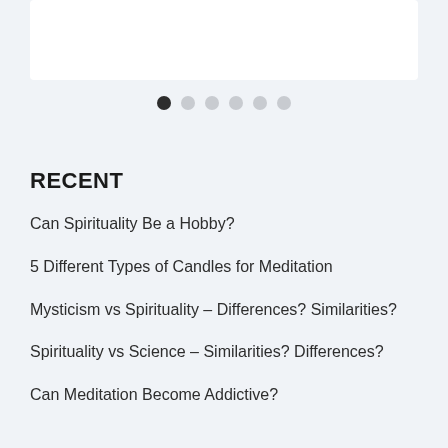[Figure (other): White rectangular image area at the top of the page]
[Figure (other): Carousel navigation dots: one dark dot (active) followed by five light gray dots]
RECENT
Can Spirituality Be a Hobby?
5 Different Types of Candles for Meditation
Mysticism vs Spirituality – Differences? Similarities?
Spirituality vs Science – Similarities? Differences?
Can Meditation Become Addictive?